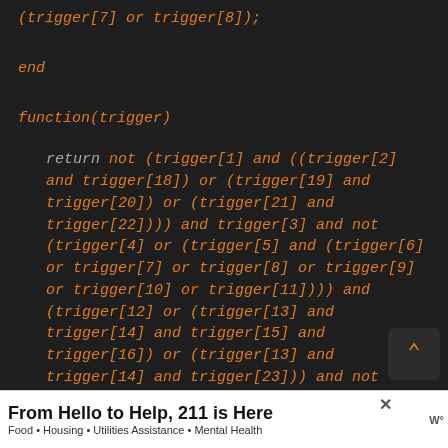(trigger[7] or trigger[8]);
end
function(trigger)
return not (trigger[1] and ((trigger[2] and trigger[18]) or (trigger[19] and trigger[20]) or (trigger[21] and trigger[22]))) and trigger[3] and not (trigger[4] or (trigger[5] and (trigger[6] or trigger[7] or trigger[8] or trigger[9] or trigger[10] or trigger[11]))) and (trigger[12] or (trigger[13] and trigger[14] and trigger[15] and trigger[16]) or (trigger[13] and trigger[14] and trigger[23])) and not trigger[17];
From Hello to Help, 211 is Here — Food • Housing • Utilities Assistance • Mental Health